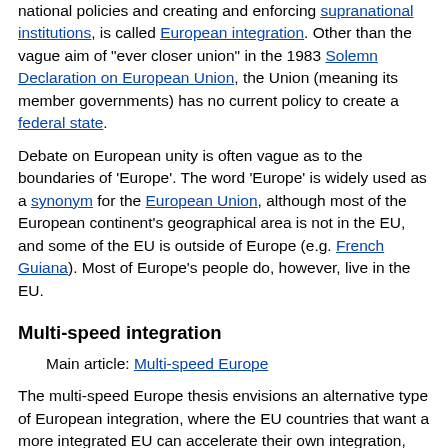The process of merging national pooling powers, harmonising national policies and creating and enforcing supranational institutions, is called European integration. Other than the vague aim of "ever closer union" in the 1983 Solemn Declaration on European Union, the Union (meaning its member governments) has no current policy to create a federal state.
Debate on European unity is often vague as to the boundaries of 'Europe'. The word 'Europe' is widely used as a synonym for the European Union, although most of the European continent's geographical area is not in the EU, and some of the EU is outside of Europe (e.g. French Guiana). Most of Europe's people do, however, live in the EU.
Multi-speed integration
Main article: Multi-speed Europe
The multi-speed Europe thesis envisions an alternative type of European integration, where the EU countries that want a more integrated EU can accelerate their own integration, whereas other countries may go at a slower pace or cease further integration altogether. Specific current examples include the Eurozone and the Schengen Area, which not all members have elected to join.